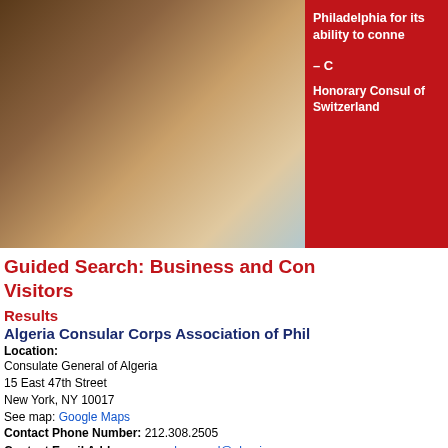[Figure (photo): Banner image with a photo of rocky/sandy terrain on the left and a red panel on the right with white text reading 'Philadelphia for its ability to conne...' and '– C' and 'Honorary Consul of Switzerland...']
Guided Search: Business and Con... Visitors
Results
Algeria Consular Corps Association of Phil...
Location:
Consulate General of Algeria
15 East 47th Street
New York, NY 10017
See map: Google Maps
Contact Phone Number: 212.308.2505
Contact Email Address: consul.general@algeria-cgny.org
Website: http://www.algeria-cgny.org
The Consulate General in NYC opened in 2011. In addition to consular service 44 states covered by its jurisdiction, it supports the Algerian community and as... Consulate General facilitates economic, education, and cultural exchanges b...